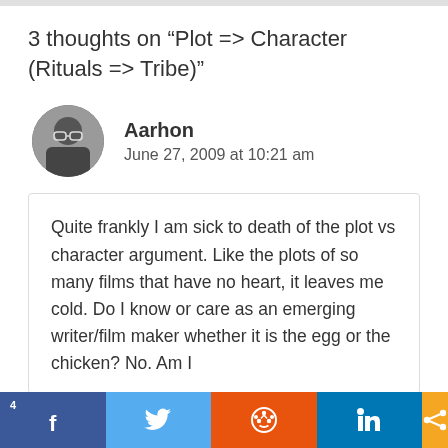3 thoughts on “Plot => Character (Rituals => Tribe)”
Aarhon
June 27, 2009 at 10:21 am
Quite frankly I am sick to death of the plot vs character argument. Like the plots of so many films that have no heart, it leaves me cold. Do I know or care as an emerging writer/film maker whether it is the egg or the chicken? No. Am I
4 [Facebook] [Twitter] [Reddit] [LinkedIn] [Share]